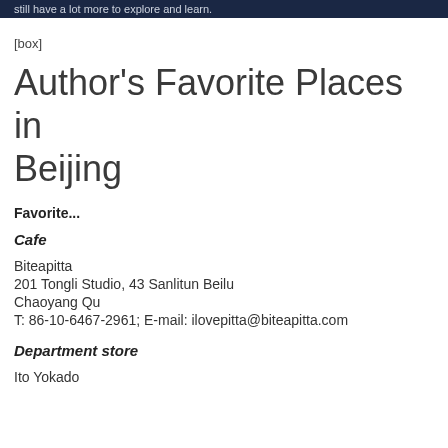still have a lot more to explore and learn.
[box]
Author's Favorite Places in Beijing
Favorite...
Cafe
Biteapitta
201 Tongli Studio, 43 Sanlitun Beilu
Chaoyang Qu
T: 86-10-6467-2961; E-mail: ilovepitta@biteapitta.com
Department store
Ito Yokado